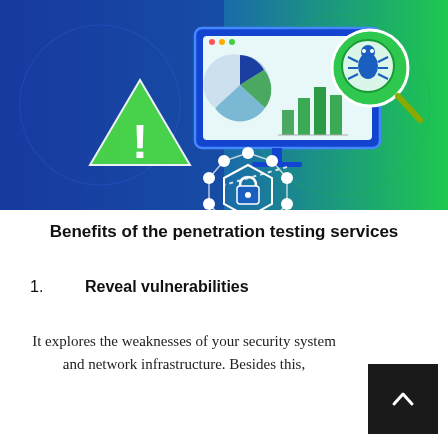[Figure (illustration): Cybersecurity illustration with a blue-to-green gradient background. Left side shows a warning triangle with exclamation mark. Center shows a computer monitor displaying a pie chart and bar chart, with a magnifying glass containing a bug icon on the right. Lower portion shows a hexagonal network diagram with a lock icon in the center, connected by white dots and lines.]
Benefits of the penetration testing services
1.   Reveal vulnerabilities
It explores the weaknesses of your security system and network infrastructure. Besides this,